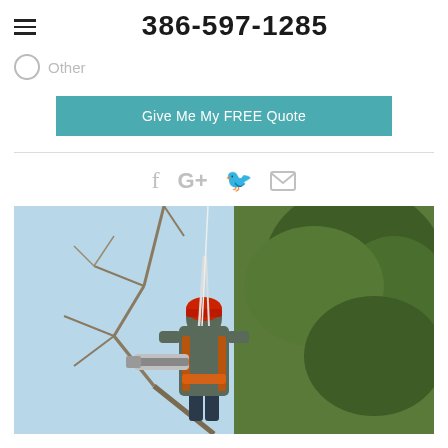386-597-1285
Other
Give Me My FREE Quote
[Figure (photo): Arborist in safety gear with red helmet and orange harness, holding a chainsaw while working in a tree canopy. Blue sky visible in background with bare and leafy branches.]